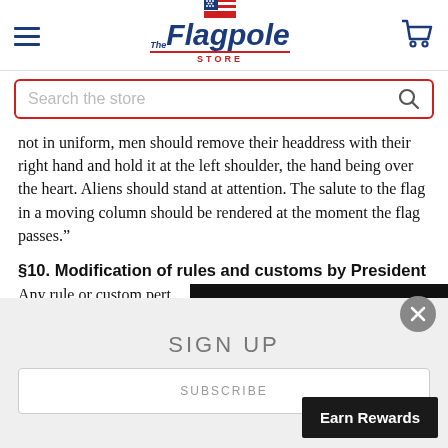The Flagpole Store
Search the store
not in uniform, men should remove their headdress with their right hand and hold it at the left shoulder, the hand being over the heart. Aliens should stand at attention. The salute to the flag in a moving column should be rendered at the moment the flag passes.”
§10. Modification of rules and customs by President
Any rule or custom pert
SIGN UP
SUBSCRIBE
Earn Rewards